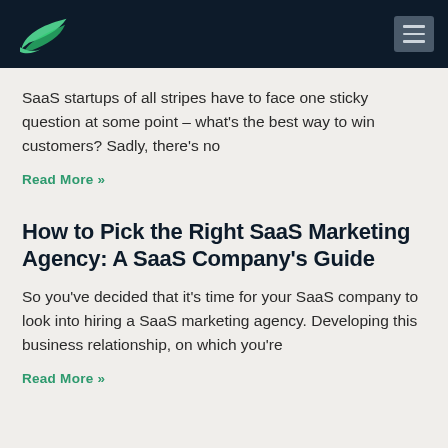[Logo and navigation menu]
SaaS startups of all stripes have to face one sticky question at some point – what's the best way to win customers? Sadly, there's no
Read More »
How to Pick the Right SaaS Marketing Agency: A SaaS Company's Guide
So you've decided that it's time for your SaaS company to look into hiring a SaaS marketing agency. Developing this business relationship, on which you're
Read More »